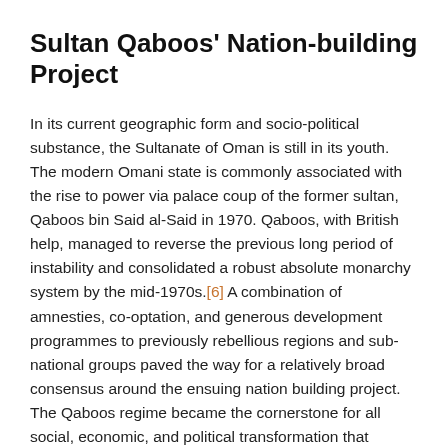Sultan Qaboos' Nation-building Project
In its current geographic form and socio-political substance, the Sultanate of Oman is still in its youth. The modern Omani state is commonly associated with the rise to power via palace coup of the former sultan, Qaboos bin Said al-Said in 1970. Qaboos, with British help, managed to reverse the previous long period of instability and consolidated a robust absolute monarchy system by the mid-1970s.[6] A combination of amnesties, co-optation, and generous development programmes to previously rebellious regions and sub-national groups paved the way for a relatively broad consensus around the ensuing nation building project. The Qaboos regime became the cornerstone for all social, economic, and political transformation that occurred in the Sultanate over the following half century.[7]
Qaboos's task was to weld together a rich and diverse